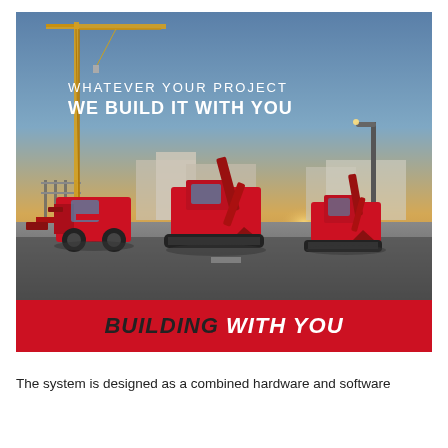[Figure (photo): Construction site photo showing three red Yanmar mini excavators and wheel loader on a wet road with a yellow tower crane in the background against a sunset sky. Text overlay reads 'WHATEVER YOUR PROJECT / WE BUILD IT WITH YOU'. Red banner at bottom reads 'BUILDING WITH YOU'.]
The system is designed as a combined hardware and software